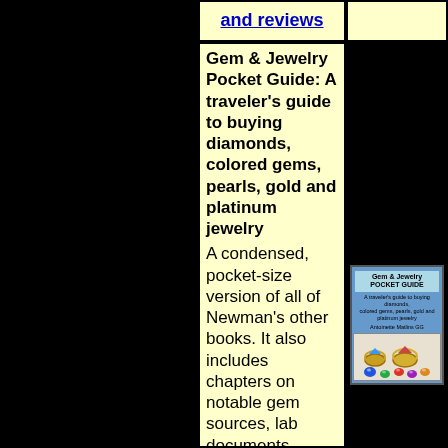and reviews
Gem & Jewelry Pocket Guide: A traveler's guide to buying diamonds, colored gems, pearls, gold and platinum jewelry
A condensed, pocket-size version of all of Newman's other books. It also includes chapters on notable gem sources, lab documents, buying gems abroad, customs regulations and
[Figure (photo): Book cover of Gem & Jewelry Pocket Guide showing rings and gemstones]